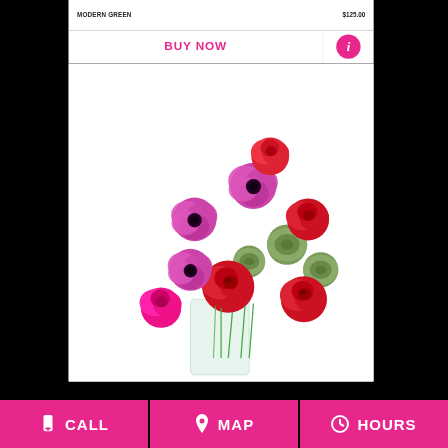MODERN GREEN  $125.00
BUY NOW
[Figure (photo): Flower bouquet with red roses, pink anemones, and green succulents in a clear vase]
CALL  MAP  HOURS